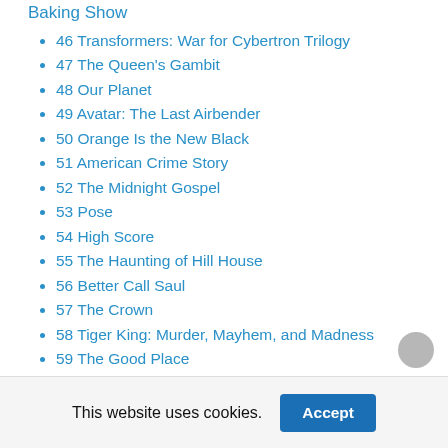Baking Show
46 Transformers: War for Cybertron Trilogy
47 The Queen's Gambit
48 Our Planet
49 Avatar: The Last Airbender
50 Orange Is the New Black
51 American Crime Story
52 The Midnight Gospel
53 Pose
54 High Score
55 The Haunting of Hill House
56 Better Call Saul
57 The Crown
58 Tiger King: Murder, Mayhem, and Madness
59 The Good Place
60 BoJack Horseman
61 Editors' Recommendations
This website uses cookies.
Accept